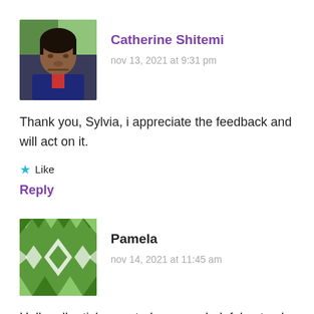[Figure (photo): Profile photo of Catherine Shitemi, a woman in a dark jacket]
Catherine Shitemi
nov 13, 2021 at 9:31 pm
Thank you, Sylvia, i appreciate the feedback and will act on it.
★ Like
Reply
[Figure (illustration): Green geometric/quilt pattern avatar for Pamela]
Pamela
nov 14, 2021 at 11:45 am
Hello, all articles posted are very helpful not only for me but also to the many I shared with.